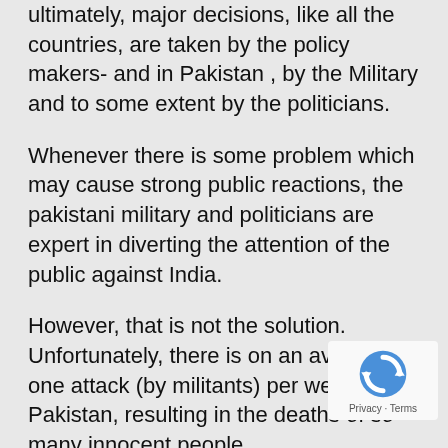ultimately, major decisions, like all the countries, are taken by the policy makers- and in Pakistan , by the Military and to some extent by the politicians.
Whenever there is some problem which may cause strong public reactions, the pakistani military and politicians are expert in diverting the attention of the public against India.
However, that is not the solution. Unfortunately, there is on an average one attack (by militants) per week in Pakistan, resulting in the deaths of so many innocent people.
All pakistan needs is a disciplined milit… which is not interfering in the political…